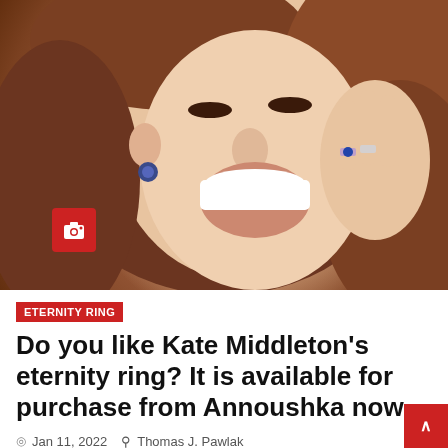[Figure (photo): Close-up photo of a smiling woman with brown hair, wearing sapphire drop earrings and rings, laughing with her hand near her face. Red camera icon badge in lower left corner.]
ETERNITY RING
Do you like Kate Middleton's eternity ring? It is available for purchase from Annoushka now
Jan 11, 2022   Thomas J. Pawlak
Last modified on January 11, 2022 16:31 GMT Abig
Malbon Along with her engagement ring – which